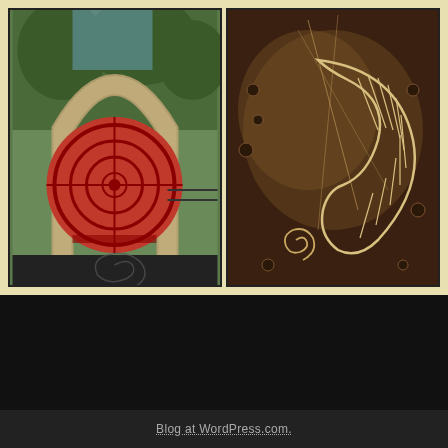[Figure (photo): Outdoor sculpture with a large stone arch and a red circular labyrinth/target metal artwork. Shadow of spiral pattern visible on dark ground below.]
[Figure (illustration): Dark brown artistic illustration showing crescent/boomerang shape with hatching lines, a spiral, and scattered dot motifs. Aboriginal-style artwork on aged background.]
SOCIAL
Blog at WordPress.com.